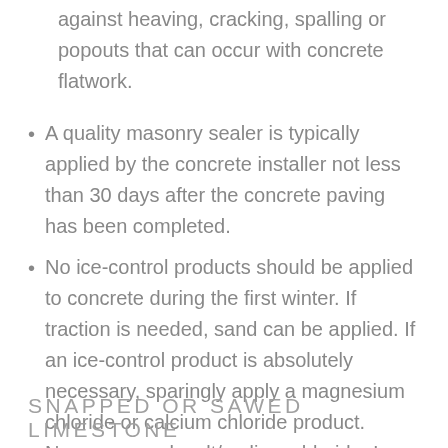against heaving, cracking, spalling or popouts that can occur with concrete flatwork.
A quality masonry sealer is typically applied by the concrete installer not less than 30 days after the concrete paving has been completed.
No ice-control products should be applied to concrete during the first winter. If traction is needed, sand can be applied. If an ice-control product is absolutely necessary, sparingly apply a magnesium chloride or calcium chloride product. Never use rock salt/sodium chloride. In early spring, thoroughly rinse areas where ice-control products were applied.
SNAPPED OR SAWED LIMESTONE